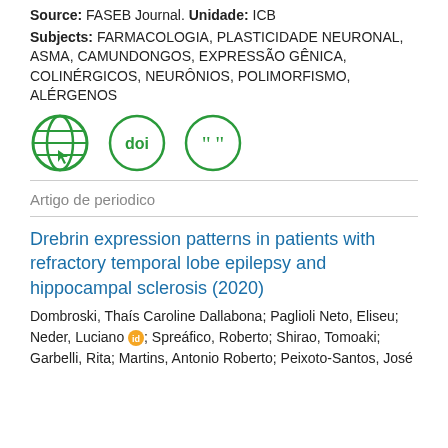Source: FASEB Journal. Unidade: ICB
Subjects: FARMACOLOGIA, PLASTICIDADE NEURONAL, ASMA, CAMUNDONGOS, EXPRESSÃO GÊNICA, COLINÉRGICOS, NEURÔNIOS, POLIMORFISMO, ALÉRGENOS
[Figure (illustration): Three green circular icons: a globe/web icon, a DOI icon, and a quotation marks icon]
Artigo de periodico
Drebrin expression patterns in patients with refractory temporal lobe epilepsy and hippocampal sclerosis (2020)
Dombroski, Thaís Caroline Dallabona; Paglioli Neto, Eliseu; Neder, Luciano; Spreáfico, Roberto; Shirao, Tomoaki; Garbelli, Rita; Martins, Antonio Roberto; Peixoto-Santos, José